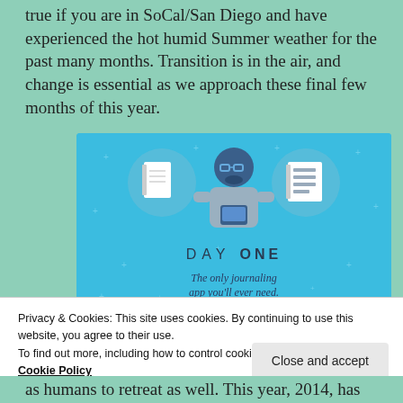true if you are in SoCal/San Diego and have experienced the hot humid Summer weather for the past many months. Transition is in the air, and change is essential as we approach these final few months of this year.
[Figure (illustration): Day One app advertisement showing a cartoon figure holding a phone with two notebook icons above, text reading 'DAY ONE' and 'The only journaling app you'll ever need.' on a blue background.]
Privacy & Cookies: This site uses cookies. By continuing to use this website, you agree to their use.
To find out more, including how to control cookies, see here:
Cookie Policy
as humans to retreat as well. This year, 2014, has